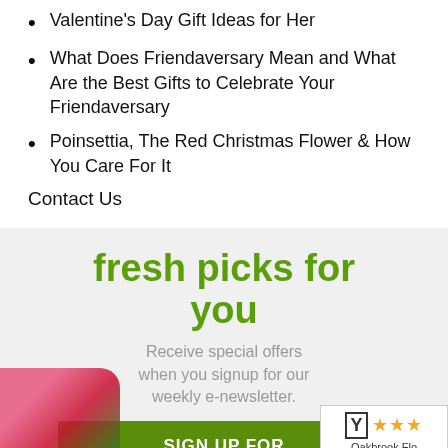Valentine's Day Gift Ideas for Her
What Does Friendaversary Mean and What Are the Best Gifts to Celebrate Your Friendaversary
Poinsettia, The Red Christmas Flower & How You Care For It
Contact Us
fresh picks for you
Receive special offers when you signup for our weekly e-newsletter.
SIGN UP FOR WEEKLY NEWSLETTERS
[Figure (logo): Shopper approved rating badge with Y logo and three orange stars, labeled Oakbrook Flo]